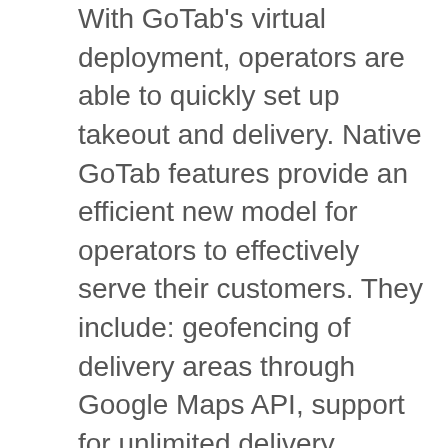With GoTab's virtual deployment, operators are able to quickly set up takeout and delivery. Native GoTab features provide an efficient new model for operators to effectively serve their customers. They include: geofencing of delivery areas through Google Maps API, support for unlimited delivery addresses on customer profiles, delivery address verification through Google Maps API, route optimization for drivers by time or distance, and printed packing slip generator. GoTab also delivers a messaging interface for drivers to contact customers on their delivery route, and order throttling to avoid order backlogs in the kitchen. The latest integration with Postmates and soon DoorDash provides flexibility to operators who want to satisfy customer demand for food delivery without taking on the financial costs of third-party ordering. GoTab seamlessly integrates delivery couriers to